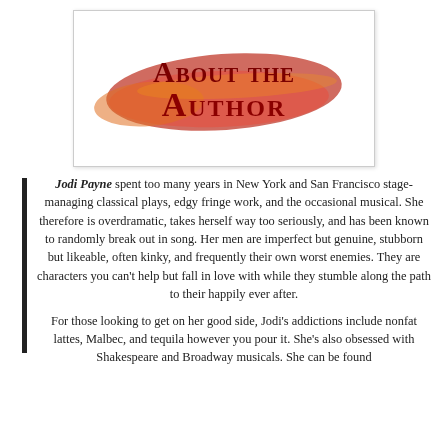[Figure (illustration): Decorative 'About the Author' heading with red brushstroke background and dark red text in a mixed serif/small-caps style, centered in a white bordered box.]
Jodi Payne spent too many years in New York and San Francisco stage-managing classical plays, edgy fringe work, and the occasional musical. She therefore is overdramatic, takes herself way too seriously, and has been known to randomly break out in song. Her men are imperfect but genuine, stubborn but likeable, often kinky, and frequently their own worst enemies. They are characters you can't help but fall in love with while they stumble along the path to their happily ever after.
For those looking to get on her good side, Jodi's addictions include nonfat lattes, Malbec, and tequila however you pour it. She's also obsessed with Shakespeare and Broadway musicals. She can be found